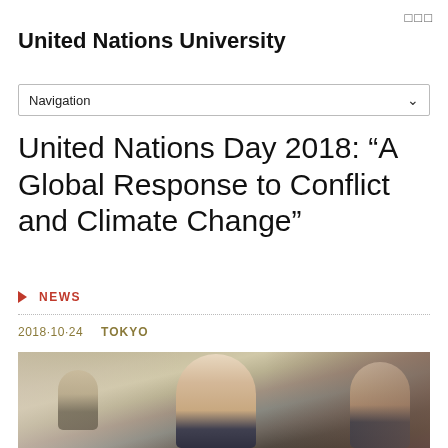United Nations University
Navigation
United Nations Day 2018: “A Global Response to Conflict and Climate Change”
NEWS
2018·10·24   TOKYO
[Figure (photo): Photo of an older grey-haired man speaking at what appears to be a panel or conference, with other attendees visible in the background]